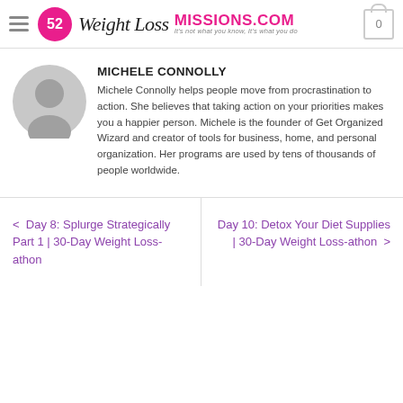52 Weight Loss Missions.com — It's not what you know, It's what you do
[Figure (illustration): Circular gray avatar/profile placeholder icon]
MICHELE CONNOLLY
Michele Connolly helps people move from procrastination to action. She believes that taking action on your priorities makes you a happier person. Michele is the founder of Get Organized Wizard and creator of tools for business, home, and personal organization. Her programs are used by tens of thousands of people worldwide.
< Day 8: Splurge Strategically Part 1 | 30-Day Weight Loss-athon
Day 10: Detox Your Diet Supplies | 30-Day Weight Loss-athon >